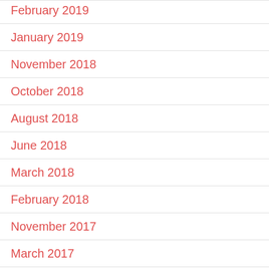February 2019
January 2019
November 2018
October 2018
August 2018
June 2018
March 2018
February 2018
November 2017
March 2017
November 2016
September 2016
August 2016
February 2016